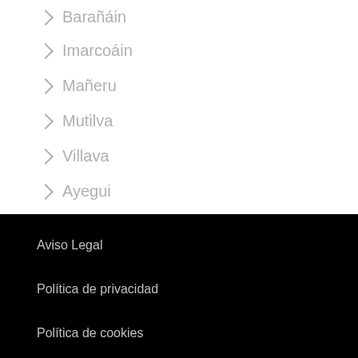Barañáin
Imarcoáin
Mañeru
Mutilva
Villava
Ayegui
Aviso Legal
Política de privacidad
Política de cookies